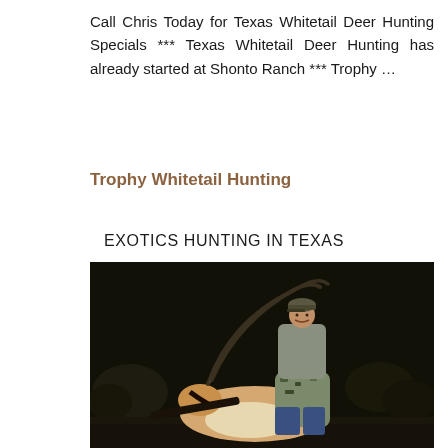Call Chris Today for Texas Whitetail Deer Hunting Specials *** Texas Whitetail Deer Hunting has already started at Shonto Ranch *** Trophy ...
Trophy Whitetail Hunting
EXOTICS HUNTING IN TEXAS
[Figure (photo): Two hunters posing at night with a harvested exotic antelope (oryx/gemsbok) with long curved horns. One hunter stands behind, the other sits in front holding the animal. Dark outdoor background with brush visible.]